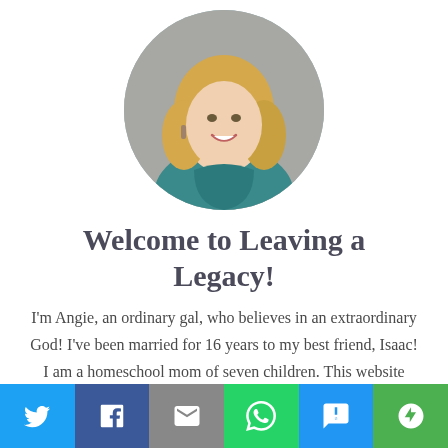[Figure (photo): Circular cropped portrait photo of a smiling blonde woman wearing a teal knitted sweater, posed against a brick wall background.]
Welcome to Leaving a Legacy!
I'm Angie, an ordinary gal, who believes in an extraordinary God! I've been married for 16 years to my best friend, Isaac! I am a homeschool mom of seven children. This website exists to encourage other women, like myself, who are seeking to live intentionally in every
[Figure (infographic): Social share bar with six buttons: Twitter (blue), Facebook (dark blue), Email (grey), WhatsApp (green), SMS (blue), More (green).]